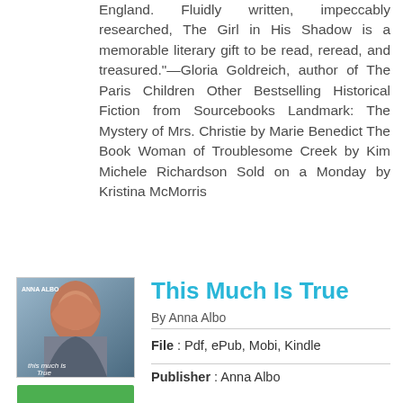England. Fluidly written, impeccably researched, The Girl in His Shadow is a memorable literary gift to be read, reread, and treasured."—Gloria Goldreich, author of The Paris Children Other Bestselling Historical Fiction from Sourcebooks Landmark: The Mystery of Mrs. Christie by Marie Benedict The Book Woman of Troublesome Creek by Kim Michele Richardson Sold on a Monday by Kristina McMorris
[Figure (illustration): Book cover thumbnail for 'This Much Is True' by Anna Albo showing a woman with long red hair]
This Much Is True
By Anna Albo
File : Pdf, ePub, Mobi, Kindle
Publisher : Anna Albo
[Figure (illustration): Green READ PDF button]